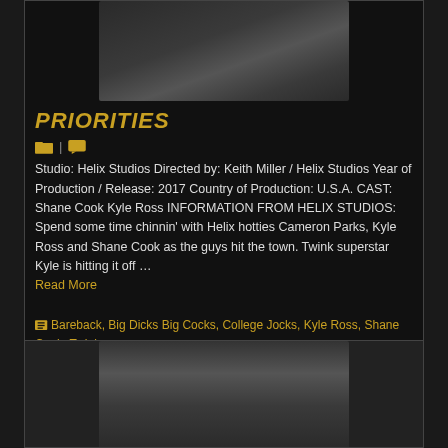[Figure (photo): Adult content image at top of card]
PRIORITIES
[Figure (other): Folder icon and comment icon with separator]
Studio: Helix Studios Directed by: Keith Miller / Helix Studios Year of Production / Release: 2017 Country of Production: U.S.A. CAST: Shane Cook Kyle Ross INFORMATION FROM HELIX STUDIOS: Spend some time chinnin' with Helix hotties Cameron Parks, Kyle Ross and Shane Cook as the guys hit the town. Twink superstar Kyle is hitting it off … Read More
Bareback, Big Dicks Big Cocks, College Jocks, Kyle Ross, Shane Cook, Twinks, Uncut Cock, Young Men
[Figure (photo): Second adult content image at bottom of page]